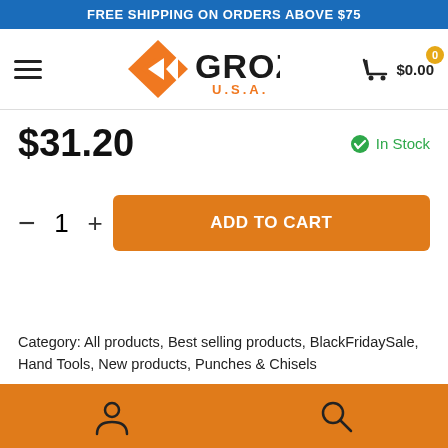FREE SHIPPING ON ORDERS ABOVE $75
[Figure (logo): Groz U.S.A. logo with orange diamond/arrow icon and black GROZ text]
$31.20
In Stock
- 1 + ADD TO CART
Category: All products, Best selling products, BlackFridaySale, Hand Tools, New products, Punches & Chisels